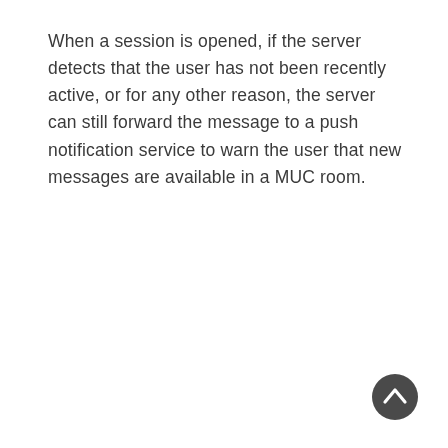When a session is opened, if the server detects that the user has not been recently active, or for any other reason, the server can still forward the message to a push notification service to warn the user that new messages are available in a MUC room.
[Figure (other): A dark circular scroll-to-top button with a white upward-pointing chevron arrow icon.]